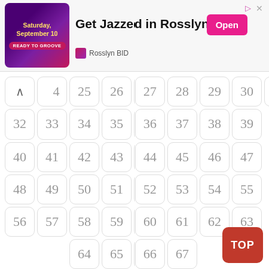[Figure (infographic): Advertisement banner for 'Get Jazzed in Rosslyn' event on Saturday, September 10. Shows a colorful ad image with 'READY TO GROOVE' badge, the event title in bold, an 'Open' button in pink, and 'Rosslyn BID' sponsor text. Close and share icons in top right.]
24, 25, 26, 27, 28, 29, 30, 31, 32, 33, 34, 35, 36, 37, 38, 39, 40, 41, 42, 43, 44, 45, 46, 47, 48, 49, 50, 51, 52, 53, 54, 55, 56, 57, 58, 59, 60, 61, 62, 63, 64, 65, 66, 67